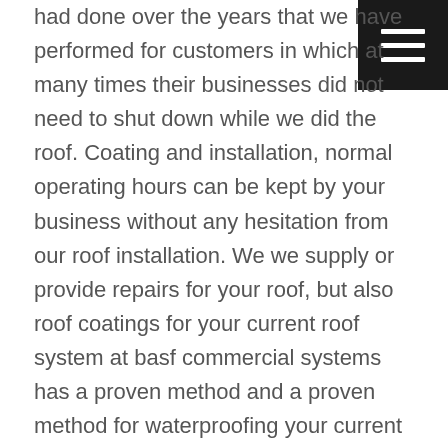had done over the years that we have performed for customers in which at many times their businesses did not need to shut down while we did the roof. Coating and installation, normal operating hours can be kept by your business without any hesitation from our roof installation. We we supply or provide repairs for your roof, but also roof coatings for your current roof system at basf commercial systems has a proven method and a proven method for waterproofing your current roof and your existing roof, whether it be providing a monolithic or seamless roof.
Roof coatings are often used by us in